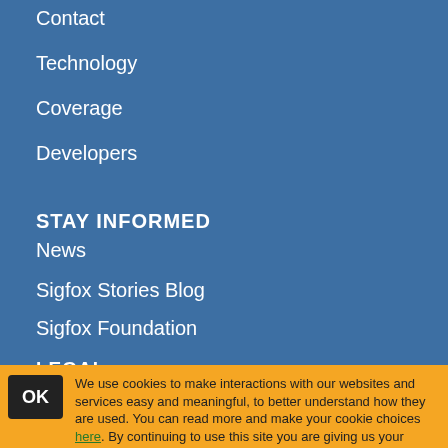Contact
Technology
Coverage
Developers
STAY INFORMED
News
Sigfox Stories Blog
Sigfox Foundation
LEGAL
Legal Terms
We use cookies to make interactions with our websites and services easy and meaningful, to better understand how they are used. You can read more and make your cookie choices here. By continuing to use this site you are giving us your consent to do this.